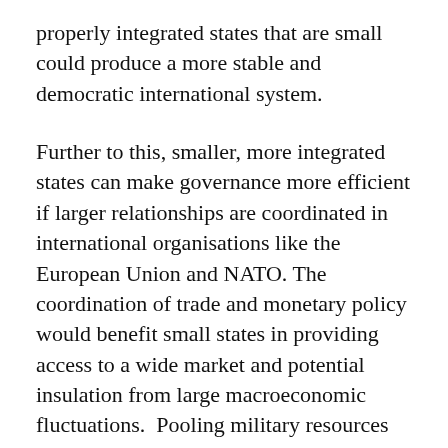properly integrated states that are small could produce a more stable and democratic international system.
Further to this, smaller, more integrated states can make governance more efficient if larger relationships are coordinated in international organisations like the European Union and NATO. The coordination of trade and monetary policy would benefit small states in providing access to a wide market and potential insulation from large macroeconomic fluctuations.  Pooling military resources would support mutual defence and promote conflict de-escalation with collective security structures.  The ability of small states to coordinate and pool resources and efforts without any single state taking a disproportionate share of